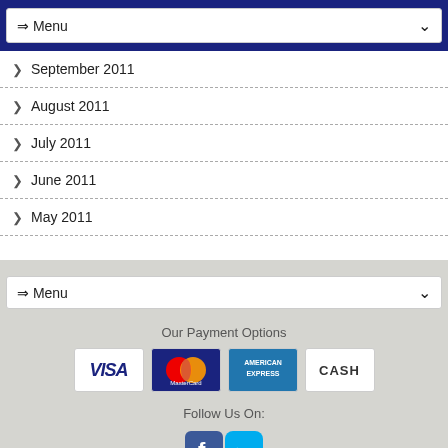⇒ Menu
> September 2011
> August 2011
> July 2011
> June 2011
> May 2011
⇒ Menu
Our Payment Options
[Figure (logo): Payment options: VISA, MasterCard, American Express, CASH]
Follow Us On:
[Figure (logo): Social media icons: Facebook and Twitter]
[Figure (logo): Company logo at bottom (partial)]